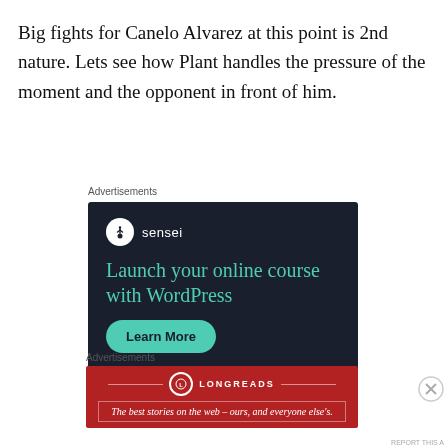Big fights for Canelo Alvarez at this point is 2nd nature. Lets see how Plant handles the pressure of the moment and the opponent in front of him.
Advertisements
[Figure (screenshot): Sensei advertisement on dark navy background: Sensei logo (circle with tree icon), headline 'Launch your online course with WordPress', green 'Learn More' button, Powered by WordPress.com footer]
Advertisements
[Figure (screenshot): Longreads advertisement on red background: Longreads logo, tagline 'The best stories on the web – ours, and everyone else's.']